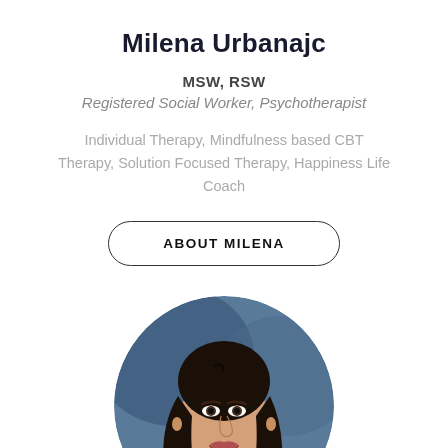Milena Urbanajc
MSW, RSW
Registered Social Worker, Psychotherapist
Individual Therapy, Mindfulness based CBT Therapy, Solution Focused Therapy, Happiness Life Coach
ABOUT MILENA
[Figure (photo): Circular professional headshot portrait of Milena Urbanajc, a woman with long dark hair, smiling, wearing dark attire, photographed against a blue-grey studio background.]